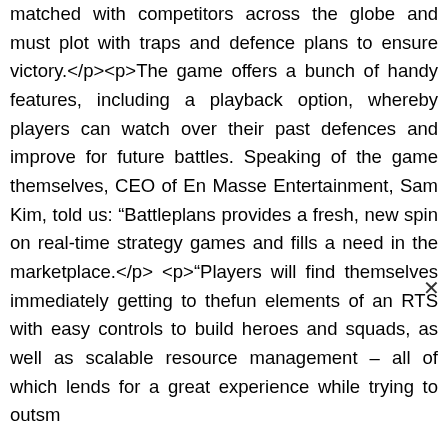matched with competitors across the globe and must plot with traps and defence plans to ensure victory.</p><p>The game offers a bunch of handy features, including a playback option, whereby players can watch over their past defences and improve for future battles. Speaking of the game themselves, CEO of En Masse Entertainment, Sam Kim, told us: “Battleplans provides a fresh, new spin on real-time strategy games and fills a need in the marketplace.</p><p>"Players will find themselves immediately getting to thefun elements of an RTS with easy controls to build heroes and squads, as well as scalable resource management – all of which lends for a great experience while trying to outsm